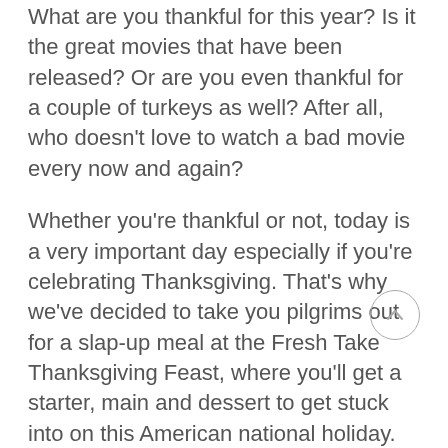What are you thankful for this year? Is it the great movies that have been released? Or are you even thankful for a couple of turkeys as well? After all, who doesn't love to watch a bad movie every now and again?
Whether you're thankful or not, today is a very important day especially if you're celebrating Thanksgiving. That's why we've decided to take you pilgrims out for a slap-up meal at the Fresh Take Thanksgiving Feast, where you'll get a starter, main and dessert to get stuck into on this American national holiday.
Disclaimer: The following films cannot be eaten or digested by the stomach, if you happen to eat an old VHS tape of